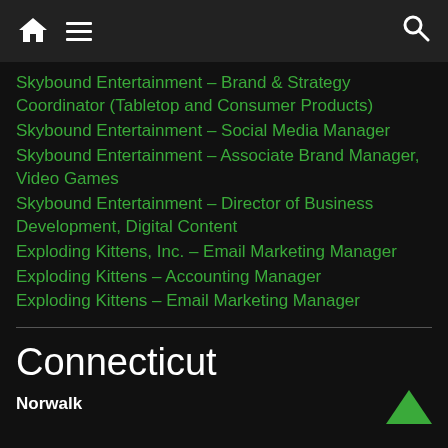Navigation bar with home, menu, and search icons
Skybound Entertainment – Brand & Strategy Coordinator (Tabletop and Consumer Products)
Skybound Entertainment – Social Media Manager
Skybound Entertainment – Associate Brand Manager, Video Games
Skybound Entertainment – Director of Business Development, Digital Content
Exploding Kittens, Inc. – Email Marketing Manager
Exploding Kittens – Accounting Manager
Exploding Kittens – Email Marketing Manager
Connecticut
Norwalk